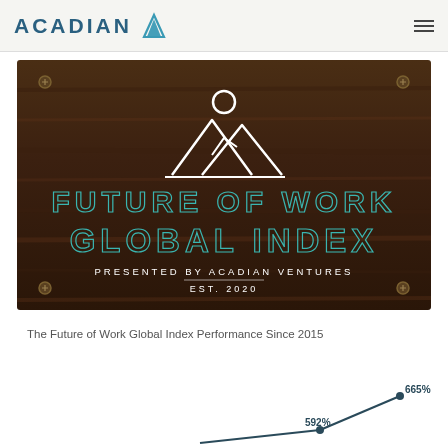ACADIAN
[Figure (illustration): Dark wood-textured banner with mountain/person icon and text: FUTURE OF WORK GLOBAL INDEX, PRESENTED BY ACADIAN VENTURES, EST. 2020]
The Future of Work Global Index Performance Since 2015
[Figure (line-chart): Partial line chart showing upward trend with data points labeled 592% and 665%]